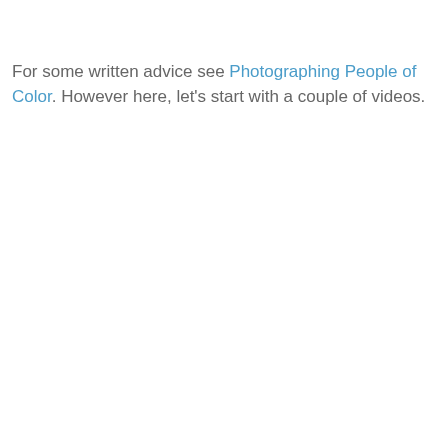For some written advice see Photographing People of Color. However here, let's start with a couple of videos.